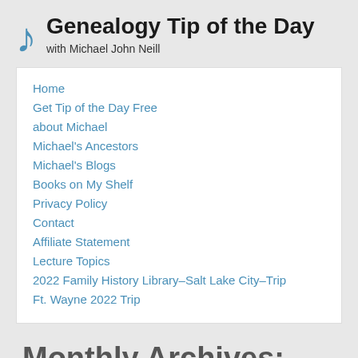Genealogy Tip of the Day with Michael John Neill
Home
Get Tip of the Day Free
about Michael
Michael's Ancestors
Michael's Blogs
Books on My Shelf
Privacy Policy
Contact
Affiliate Statement
Lecture Topics
2022 Family History Library–Salt Lake City–Trip
Ft. Wayne 2022 Trip
Monthly Archives: February 2017